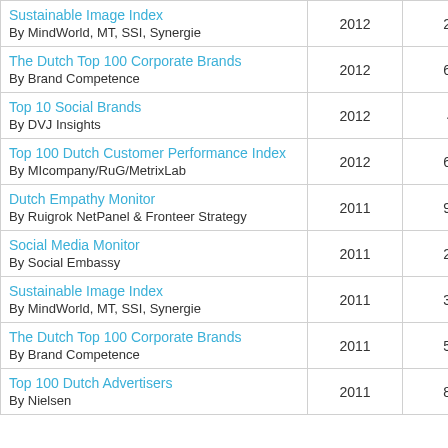| Name | Year | Rank |
| --- | --- | --- |
| Sustainable Image Index
By MindWorld, MT, SSI, Synergie | 2012 | 27 |
| The Dutch Top 100 Corporate Brands
By Brand Competence | 2012 | 62 |
| Top 10 Social Brands
By DVJ Insights | 2012 | 4 |
| Top 100 Dutch Customer Performance Index
By MIcompany/RuG/MetrixLab | 2012 | 64 |
| Dutch Empathy Monitor
By Ruigrok NetPanel & Fronteer Strategy | 2011 | 92 |
| Social Media Monitor
By Social Embassy | 2011 | 22 |
| Sustainable Image Index
By MindWorld, MT, SSI, Synergie | 2011 | 32 |
| The Dutch Top 100 Corporate Brands
By Brand Competence | 2011 | 50 |
| Top 100 Dutch Advertisers
By Nielsen | 2011 | 88 |